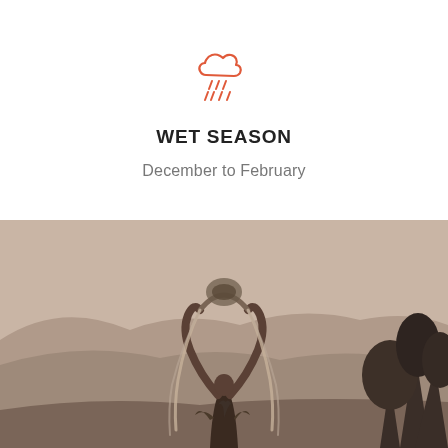[Figure (illustration): Rain cloud icon in coral/orange outline style with diagonal rain drops below it]
WET SEASON
December to February
[Figure (photo): Sepia-toned photograph of a person with arms raised holding a decorative arch or wreath structure with trailing fabric/fronds, set against a hilly landscape with trees on the right]